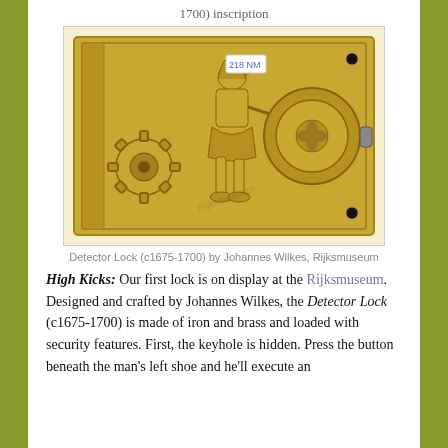1700) inscription
[Figure (photo): Photograph of the Detector Lock (c1675-1700) by Johannes Wilkes from the Rijksmuseum. A brass rectangular lock plate with a relief of a soldier figure in the center, a gear/sun wheel on the left, and a circular rosette mechanism on the right. A small white label reads '218 NM'.]
Detector Lock (c1675-1700) by Johannes Wilkes, Rijksmuseum
High Kicks: Our first lock is on display at the Rijksmuseum. Designed and crafted by Johannes Wilkes, the Detector Lock (c1675-1700) is made of iron and brass and loaded with security features. First, the keyhole is hidden. Press the button beneath the man's left shoe and he'll execute an